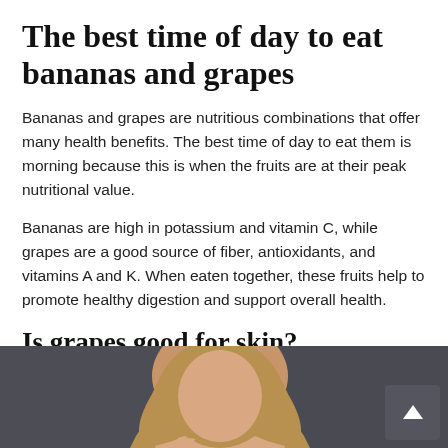The best time of day to eat bananas and grapes
Bananas and grapes are nutritious combinations that offer many health benefits. The best time of day to eat them is morning because this is when the fruits are at their peak nutritional value.
Bananas are high in potassium and vitamin C, while grapes are a good source of fiber, antioxidants, and vitamins A and K. When eaten together, these fruits help to promote healthy digestion and support overall health.
Is grapes good for skin?
[Figure (photo): A woman with straight hair posing against a dark gray background, partially visible from bottom of page]